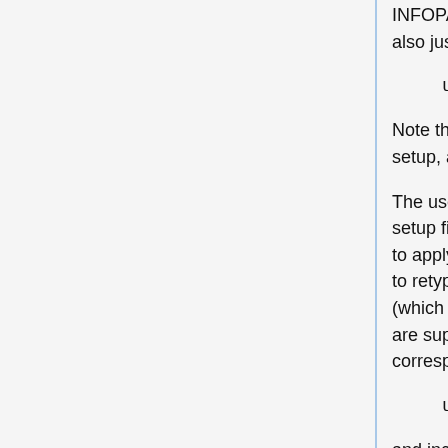INFOPATH variable. Instead of doing this, you can also just type
use blastwave
Note that "Blastwave" is included in the default user setup, and is used here only as an example.
The use command will also work inside of your login setup file, e.g. .login for a csh. This makes it possible to apply the setting permanently, and you won't have to retype the use command every time you log in (which would defeat the purpose). By default, users are supplied with a reasonable setup that corresponds to
use standard-user-settings
and includes access to most system functions, Cluster Tools, Grid Engine, Sun Studio compilers, and a few